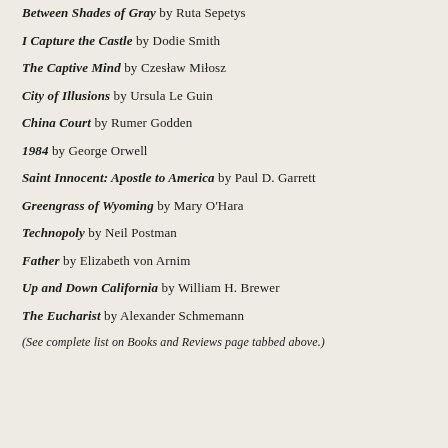Between Shades of Gray by Ruta Sepetys
I Capture the Castle by Dodie Smith
The Captive Mind by Czesław Miłosz
City of Illusions by Ursula Le Guin
China Court by Rumer Godden
1984 by George Orwell
Saint Innocent: Apostle to America by Paul D. Garrett
Greengrass of Wyoming by Mary O'Hara
Technopoly by Neil Postman
Father by Elizabeth von Arnim
Up and Down California by William H. Brewer
The Eucharist by Alexander Schmemann
(See complete list on Books and Reviews page tabbed above.)